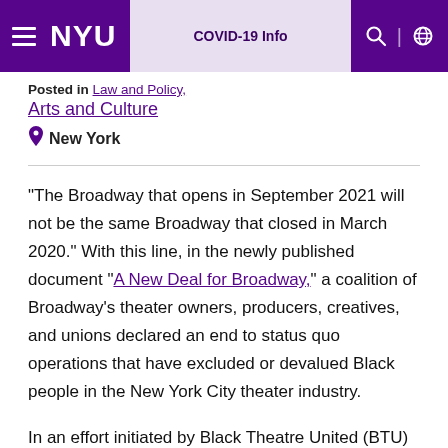NYU | COVID-19 Info
Posted in Law and Policy, Arts and Culture
New York
“The Broadway that opens in September 2021 will not be the same Broadway that closed in March 2020.” With this line, in the newly published document “A New Deal for Broadway,” a coalition of Broadway’s theater owners, producers, creatives, and unions declared an end to status quo operations that have excluded or devalued Black people in the New York City theater industry.
In an effort initiated by Black Theatre United (BTU)—an organization composed of members of the Black theater community that advocates for Black professionals in the arts